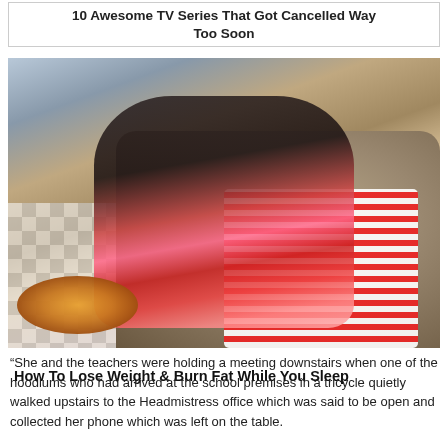10 Awesome TV Series That Got Cancelled Way Too Soon
[Figure (photo): Young woman with red hair and sunglasses lounging on a large tufted sofa, holding pizza and a drink, with open pizza boxes and popcorn on a checkered floor, wearing red and white striped socks.]
How To Lose Weight & Burn Fat While You Sleep
“She and the teachers were holding a meeting downstairs when one of the hoodlums who had arrived at the school premises in a tricycle quietly walked upstairs to the Headmistress office which was said to be open and collected her phone which was left on the table.